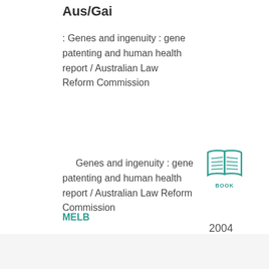Aus/Gai
: Genes and ingenuity : gene patenting and human health report / Australian Law Reform Commission
Genes and ingenuity : gene patenting and human health report / Australian Law Reform Commission
MELB
[Figure (illustration): Open book icon with BOOK label below, in teal/green color]
2004
611.018166
Str/Rec